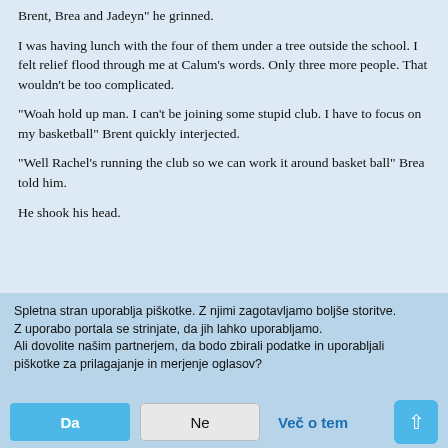Brent, Brea and Jadeyn" he grinned.
I was having lunch with the four of them under a tree outside the school. I felt relief flood through me at Calum's words. Only three more people. That wouldn't be too complicated.
"Woah hold up man. I can't be joining some stupid club. I have to focus on my basketball" Brent quickly interjected.
"Well Rachel's running the club so we can work it around basket ball" Brea told him.
He shook his head.
Spletna stran uporablja piškotke. Z njimi zagotavljamo boljše storitve. Z uporabo portala se strinjate, da jih lahko uporabljamo. Ali dovolite našim partnerjem, da bodo zbirali podatke in uporabljali piškotke za prilagajanje in merjenje oglasov?
Da | Ne | Več o tem